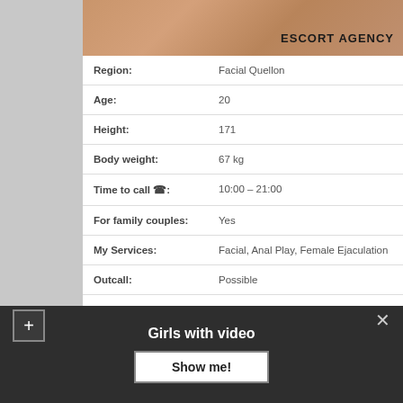[Figure (photo): Partial photo of a person with dark clothing, with text overlay reading ESCORT AGENCY]
| Region: | Facial Quellon |
| Age: | 20 |
| Height: | 171 |
| Body weight: | 67 kg |
| Time to call ☎: | 10:00 – 21:00 |
| For family couples: | Yes |
| My Services: | Facial, Anal Play, Female Ejaculation |
| Outcall: | Possible |
Girls with video
Show me!